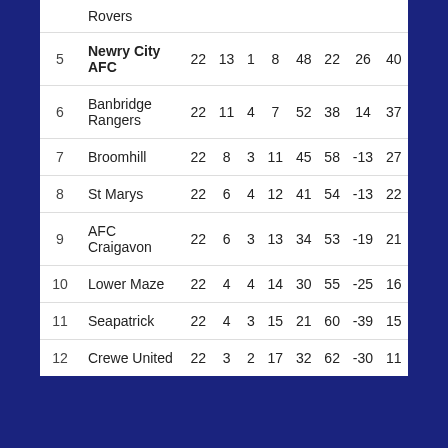| # | Team | P | W | D | L | F | A | GD | Pts |
| --- | --- | --- | --- | --- | --- | --- | --- | --- | --- |
|  | Rovers |  |  |  |  |  |  |  |  |
| 5 | Newry City AFC | 22 | 13 | 1 | 8 | 48 | 22 | 26 | 40 |
| 6 | Banbridge Rangers | 22 | 11 | 4 | 7 | 52 | 38 | 14 | 37 |
| 7 | Broomhill | 22 | 8 | 3 | 11 | 45 | 58 | -13 | 27 |
| 8 | St Marys | 22 | 6 | 4 | 12 | 41 | 54 | -13 | 22 |
| 9 | AFC Craigavon | 22 | 6 | 3 | 13 | 34 | 53 | -19 | 21 |
| 10 | Lower Maze | 22 | 4 | 4 | 14 | 30 | 55 | -25 | 16 |
| 11 | Seapatrick | 22 | 4 | 3 | 15 | 21 | 60 | -39 | 15 |
| 12 | Crewe United | 22 | 3 | 2 | 17 | 32 | 62 | -30 | 11 |